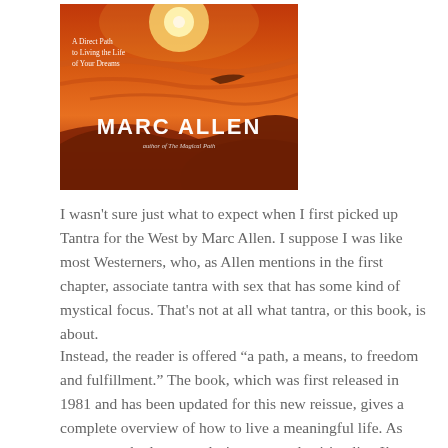[Figure (photo): Book cover of 'Tantra for the West' by Marc Allen with subtitle 'A Direct Path to Living the Life of Your Dreams'. Orange/red sunset sky background with dunes. Author name MARC ALLEN in large white text, with 'author of The Magical Path' below.]
I wasn't sure just what to expect when I first picked up Tantra for the West by Marc Allen. I suppose I was like most Westerners, who, as Allen mentions in the first chapter, associate tantra with sex that has some kind of mystical focus. That's not at all what tantra, or this book, is about.
Instead, the reader is offered “a path, a means, to freedom and fulfillment.” The book, which was first released in 1981 and has been updated for this new reissue, gives a complete overview of how to live a meaningful life. As someone who loves exploring personal spirituality, I’m not sure how I managed to